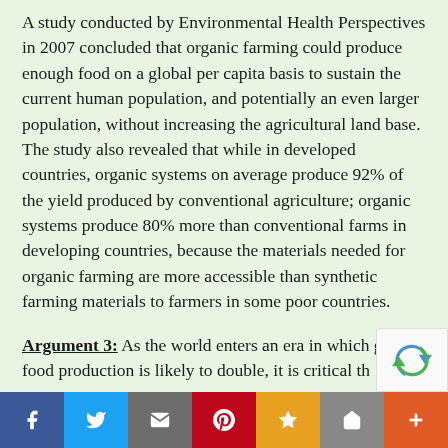A study conducted by Environmental Health Perspectives in 2007 concluded that organic farming could produce enough food on a global per capita basis to sustain the current human population, and potentially an even larger population, without increasing the agricultural land base. The study also revealed that while in developed countries, organic systems on average produce 92% of the yield produced by conventional agriculture; organic systems produce 80% more than conventional farms in developing countries, because the materials needed for organic farming are more accessible than synthetic farming materials to farmers in some poor countries.
Argument 3: As the world enters an era in which global food production is likely to double, it is critical th...